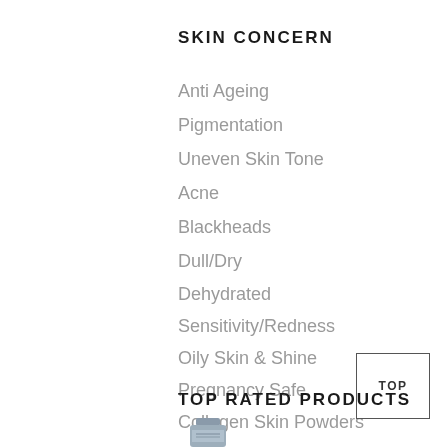SKIN CONCERN
Anti Ageing
Pigmentation
Uneven Skin Tone
Acne
Blackheads
Dull/Dry
Dehydrated
Sensitivity/Redness
Oily Skin & Shine
Pregnancy Safe
Collagen Skin Powders
TOP RATED PRODUCTS
[Figure (photo): Partial image of a skincare product tube at the bottom of the page]